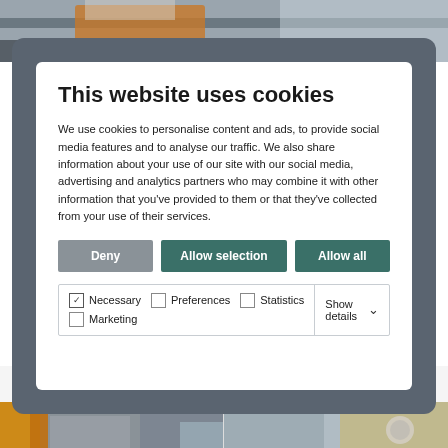[Figure (photo): Top strip: industrial/construction site photo showing workers in orange gear on a dark metal surface with snowy/grey background]
This website uses cookies
We use cookies to personalise content and ads, to provide social media features and to analyse our traffic. We also share information about your use of our site with our social media, advertising and analytics partners who may combine it with other information that you've provided to them or that they've collected from your use of their services.
Deny | Allow selection | Allow all
Necessary  Preferences  Statistics  Show details
Marketing
Machining and fabrication
[Figure (photo): Bottom strip: two industrial facility photos side by side showing machinery and fabrication equipment]